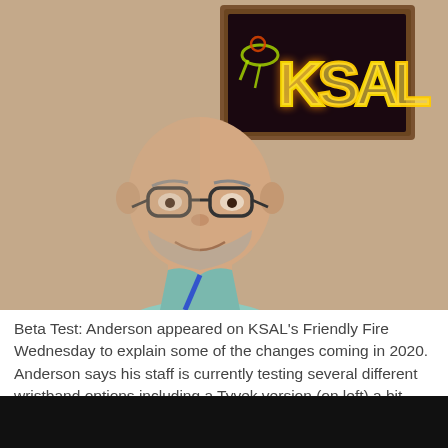[Figure (photo): A bald man with glasses and a short beard wearing a light teal polo shirt with a blue lanyard, standing in front of a KSAL neon sign mounted on a wooden backing. The neon sign glows yellow-red spelling KSAL with a bird/lightning bolt decoration.]
Beta Test: Anderson appeared on KSAL's Friendly Fire Wednesday to explain some of the changes coming in 2020. Anderson says his staff is currently testing several different wristband options including a Tyvek version (on left) a bit more of a paper feel along with vinyl and plastic